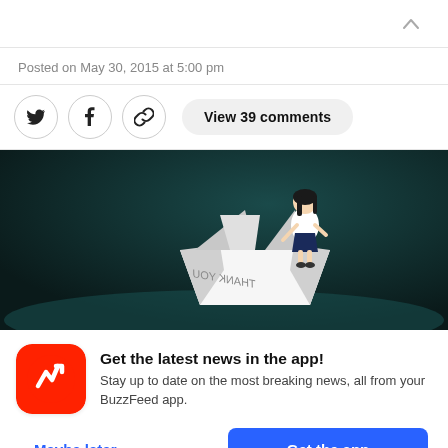^
Posted on May 30, 2015 at 5:00 pm
View 39 comments
[Figure (illustration): Anime-style illustration of a girl emerging from a takeout box with 'THANK YOU' written on it, against a dark teal background]
Get the latest news in the app! Stay up to date on the most breaking news, all from your BuzzFeed app.
Maybe later
Get the app